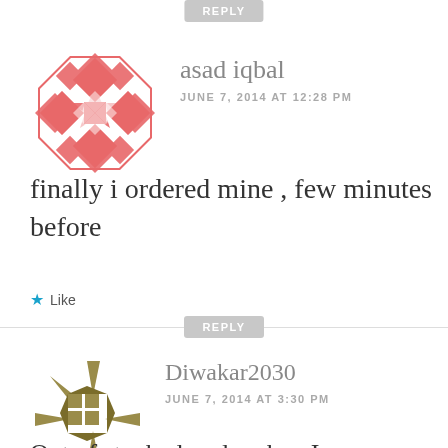REPLY
[Figure (illustration): Pink/salmon decorative geometric avatar with interlocking diamond/star pattern for user asad iqbal]
asad iqbal
JUNE 7, 2014 AT 12:28 PM
finally i ordered mine , few minutes before
Like
REPLY
[Figure (illustration): Olive/dark yellow geometric star-burst avatar for user Diwakar2030]
Diwakar2030
JUNE 7, 2014 AT 3:30 PM
Out of stock already when I